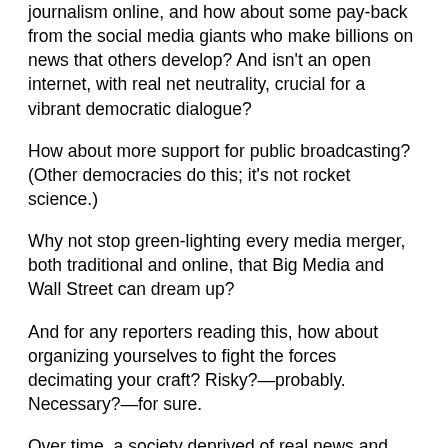journalism online, and how about some pay-back from the social media giants who make billions on news that others develop? And isn't an open internet, with real net neutrality, crucial for a vibrant democratic dialogue?
How about more support for public broadcasting? (Other democracies do this; it's not rocket science.)
Why not stop green-lighting every media merger, both traditional and online, that Big Media and Wall Street can dream up?
And for any reporters reading this, how about organizing yourselves to fight the forces decimating your craft? Risky?—probably. Necessary?—for sure.
Over time, a society deprived of real news and information will begin to make decisions that work against its better interests. Many (including me) would say this